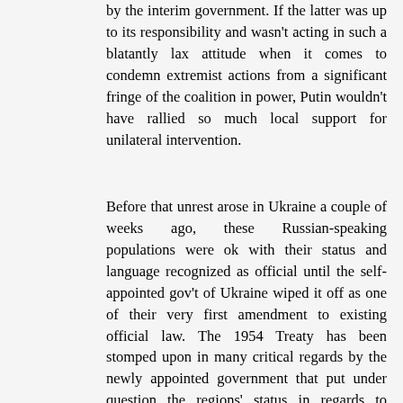by the interim government. If the latter was up to its responsibility and wasn't acting in such a blatantly lax attitude when it comes to condemn extremist actions from a significant fringe of the coalition in power, Putin wouldn't have rallied so much local support for unilateral intervention.
Before that unrest arose in Ukraine a couple of weeks ago, these Russian-speaking populations were ok with their status and language recognized as official until the self-appointed gov't of Ukraine wiped it off as one of their very first amendment to existing official law. The 1954 Treaty has been stomped upon in many critical regards by the newly appointed government that put under question the regions' status in regards to Russia, they certainly shouldn't have rushed forward their pro-EU, anti-Russia stance while totally disregarding that fundamental aspect of Crimea's longstanding and historically agreed upon links to Moscow through its very special relationship and status to the Russian mainland. Putin couldn't have hoped for a better occasion